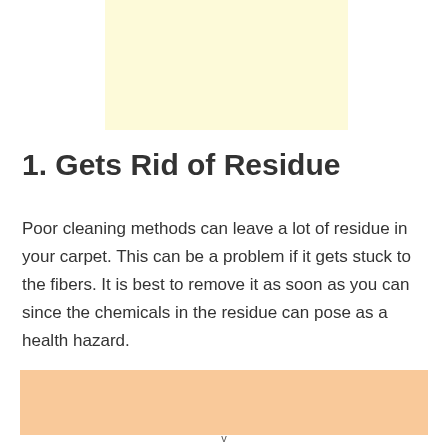[Figure (other): Light yellow rectangular box at the top center of the page]
1. Gets Rid of Residue
Poor cleaning methods can leave a lot of residue in your carpet. This can be a problem if it gets stuck to the fibers. It is best to remove it as soon as you can since the chemicals in the residue can pose as a health hazard.
[Figure (other): Light orange/peach rectangular box at the bottom of the page]
v